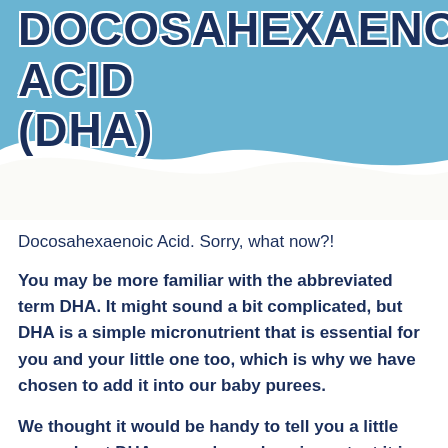[Figure (illustration): Blue wave background with white outline text title reading DOCOSAHEXAENOIC ACID (DHA)]
DOCOSAHEXAENOIC ACID (DHA)
Docosahexaenoic Acid. Sorry, what now?!
You may be more familiar with the abbreviated term DHA. It might sound a bit complicated, but DHA is a simple micronutrient that is essential for you and your little one too, which is why we have chosen to add it into our baby purees.
We thought it would be handy to tell you a little more about DHA, as we know how important it is to understand what you are feeding your little one and